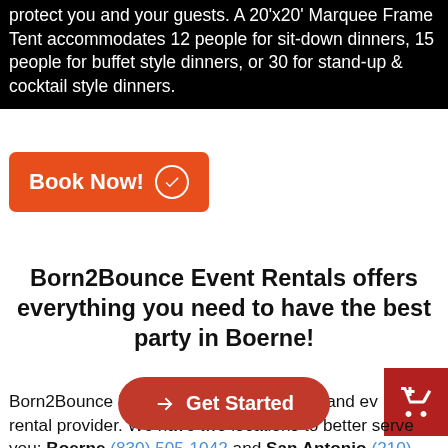protect you and your guests. A 20'x20' Marquee Frame Tent accommodates 12 people for sit-down dinners, 15 people for buffet style dinners, or 30 for stand-up & cocktail style dinners.
Book Now!
Born2Bounce Event Rentals offers everything you need to have the best party in Boerne!
Born2Bounce is a full service party rental and event rental provider. We have two locations to better serve you: Boerne (830) 505-1042 and San Antonio (210) 899-5415. We offer a wide variety of bounce houses, bouncers with slides, inflatable interactive games, inflatable water slides and dunk tanks, inflatable obstacle courses, foam parties, and other types of carnival games, cotton candy and snow cone machines as well as generators to power it all! We also have tents, canopies, tables and chairs to give
Get Started